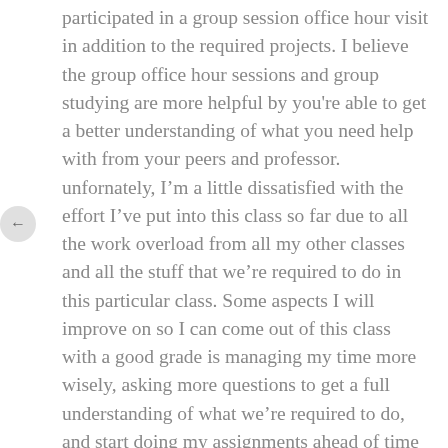participated in a group session office hour visit in addition to the required projects. I believe the group office hour sessions and group studying are more helpful by you're able to get a better understanding of what you need help with from your peers and professor. unfornately, I'm a little dissatisfied with the effort I've put into this class so far due to all the work overload from all my other classes and all the stuff that we're required to do in this particular class. Some aspects I will improve on so I can come out of this class with a good grade is managing my time more wisely, asking more questions to get a full understanding of what we're required to do, and start doing my assignments ahead of time and stop procrastinating.

I plan on changing my approach to the remaining